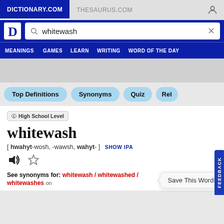DICTIONARY.COM | THESAURUS.COM
[Figure (screenshot): Dictionary.com search bar with 'whitewash' entered]
MEANINGS  GAMES  LEARN  WRITING  WORD OF THE DAY
Top Definitions
Synonyms
Quiz
Rel
🛈 High School Level
whitewash
[ hwahyt-wosh, -wawsh, wahyt- ]  SHOW IPA
Save This Word!
See synonyms for: whitewash / whitewashed /